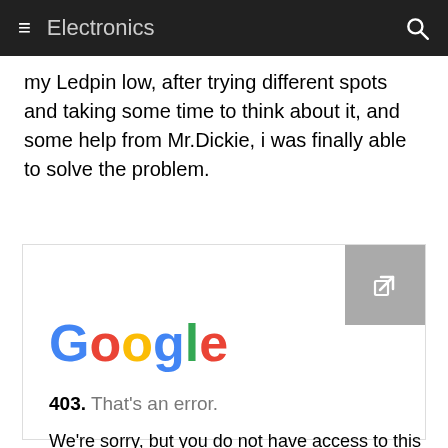Electronics
my Ledpin low, after trying different spots and taking some time to think about it, and some help from Mr.Dickie, i was finally able to solve the problem.
[Figure (screenshot): Screenshot of a Google 403 error page showing the Google logo in multicolor, text '403. That’s an error.' and 'We’re sorry, but you do not have access to this page. That’s all we know.']